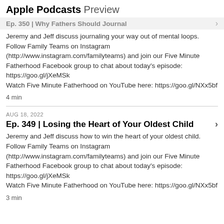Apple Podcasts Preview
Ep. 350 | Why Fathers Should Journal
Jeremy and Jeff discuss journaling your way out of mental loops.
Follow Family Teams on Instagram (http://www.instagram.com/familyteams) and join our Five Minute Fatherhood Facebook group to chat about today's episode: https://goo.gl/jXeMSk
Watch Five Minute Fatherhood on YouTube here: https://goo.gl/NXx5bf
4 min
AUG 18, 2022
Ep. 349 | Losing the Heart of Your Oldest Child
Jeremy and Jeff discuss how to win the heart of your oldest child.
Follow Family Teams on Instagram (http://www.instagram.com/familyteams) and join our Five Minute Fatherhood Facebook group to chat about today's episode: https://goo.gl/jXeMSk
Watch Five Minute Fatherhood on YouTube here: https://goo.gl/NXx5bf
3 min